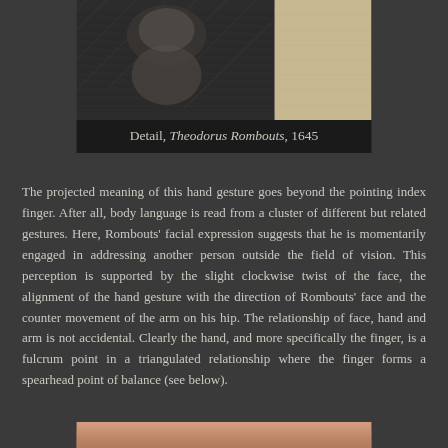[Figure (photo): Detail of a portrait engraving showing a man pointing with his index finger, partially cropped. Black and white hatched engraving style on the left, warm beige/tan on the right portion.]
Detail, Theodorus Rombouts, 1645
The projected meaning of this hand gesture goes beyond the pointing index finger. After all, body language is read from a cluster of different but related gestures. Here, Rombouts' facial expression suggests that he is momentarily engaged in addressing another person outside the field of vision. This perception is supported by the slight clockwise twist of the face, the alignment of the hand gesture with the direction of Rombouts' face and the counter movement of the arm on his hip. The relationship of face, hand and arm is not accidental. Clearly the hand, and more specifically the finger, is a fulcrum point in a triangulated relationship where the finger forms a spearhead point of balance (see below).
[Figure (photo): Bottom strip of another portrait image, partially visible, warm skin tone colors.]